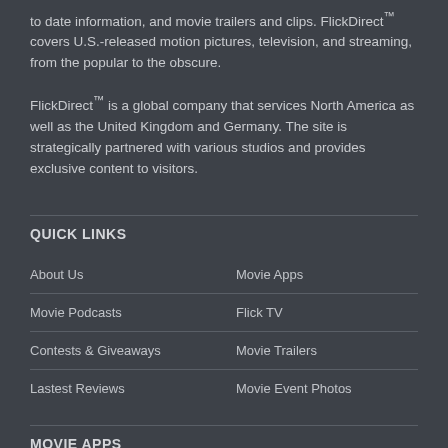to date information, and movie trailers and clips. FlickDirect™ covers U.S.-released motion pictures, television, and streaming, from the popular to the obscure.
FlickDirect™ is a global company that services North America as well as the United Kingdom and Germany. The site is strategically partnered with various studios and provides exclusive content to visitors.
QUICK LINKS
About Us
Movie Apps
Movie Podcasts
Flick TV
Contests & Giveaways
Movie Trailers
Lastest Reviews
Movie Event Photos
MOVIE APPS